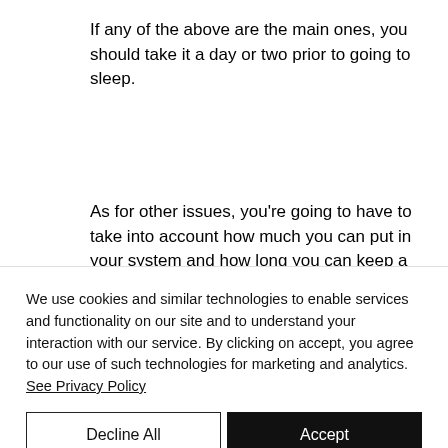If any of the above are the main ones, you should take it a day or two prior to going to sleep.
As for other issues, you're going to have to take into account how much you can put in your system and how long you can keep a large percentage of it in your body from the beginning as the higher the percentage it increases the longer lasting the effects will
We use cookies and similar technologies to enable services and functionality on our site and to understand your interaction with our service. By clicking on accept, you agree to our use of such technologies for marketing and analytics. See Privacy Policy
Decline All
Accept
Cookie Settings